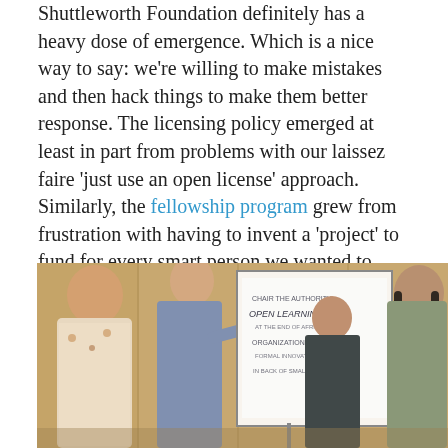Shuttleworth Foundation definitely has a heavy dose of emergence. Which is a nice way to say: we're willing to make mistakes and then hack things to make them better response. The licensing policy emerged at least in part from problems with our laissez faire 'just use an open license' approach. Similarly, the fellowship program grew from frustration with having to invent a 'project' to fund for every smart person we wanted to work with. Looking back at the things that shaped current practices has helped us all get on the page about 'why we are who we are'. Hopefully, it will also result in useful lessons for other small foundations.
[Figure (photo): A group of people standing around a whiteboard/flipchart in what appears to be a workshop or meeting room. Several people are looking at the board which has handwritten text on it.]